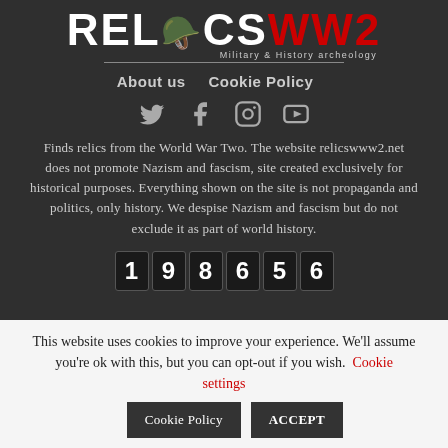[Figure (logo): RELICS WW2 logo with white RELICS text and red WW2 text, subtitle reads Military & History archeology]
About us   Cookie Policy
[Figure (infographic): Social media icons: Twitter, Facebook, Instagram, YouTube in grey on dark background]
Finds relics from the World War Two. The website relicswww2.net does not promote Nazism and fascism, site created exclusively for historical purposes. Everything shown on the site is not propaganda and politics, only history. We despise Nazism and fascism but do not exclude it as part of world history.
[Figure (other): Hit counter showing digits: 1 9 8 6 5 6]
This website uses cookies to improve your experience. We'll assume you're ok with this, but you can opt-out if you wish. Cookie settings Cookie Policy ACCEPT